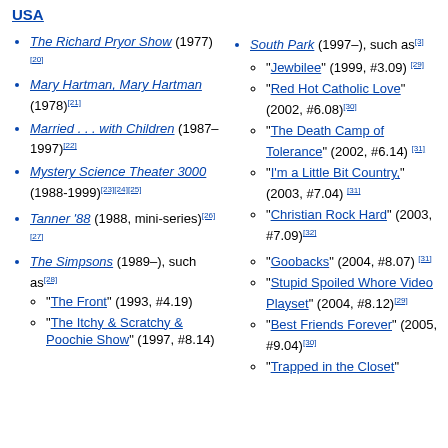USA
The Richard Pryor Show (1977)[20]
Mary Hartman, Mary Hartman (1978)[21]
Married . . . with Children (1987–1997)[22]
Mystery Science Theater 3000 (1988-1999)[23][24][25]
Tanner '88 (1988, mini-series)[26][27]
The Simpsons (1989–), such as[28]
"The Front" (1993, #4.19)
"The Itchy & Scratchy & Poochie Show" (1997, #8.14)
South Park (1997–), such as[3]
"Jewbilee" (1999, #3.09)[29]
"Red Hot Catholic Love" (2002, #6.08)[30]
"The Death Camp of Tolerance" (2002, #6.14)[31]
"I'm a Little Bit Country," (2003, #7.04)[31]
"Christian Rock Hard" (2003, #7.09)[32]
"Goobacks" (2004, #8.07)[31]
"Stupid Spoiled Whore Video Playset" (2004, #8.12)[29]
"Best Friends Forever" (2005, #9.04)[30]
"Trapped in the Closet"